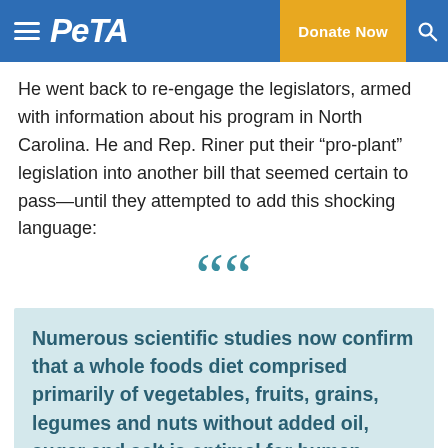PETA | Donate Now
He went back to re-engage the legislators, armed with information about his program in North Carolina. He and Rep. Riner put their “pro-plant” legislation into another bill that seemed certain to pass—until they attempted to add this shocking language:
““
Numerous scientific studies now confirm that a whole foods diet comprised primarily of vegetables, fruits, grains, legumes and nuts without added oil, sugar and salt is optimal for human health, not only preventing a broad range of diseases and illnesses, but also reversing some of the most dangerous chronic